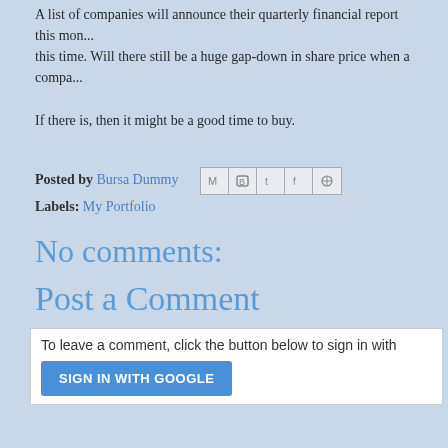A list of companies will announce their quarterly financial report this month. ... Will there still be a huge gap-down in share price when a company...
If there is, then it might be a good time to buy.
Posted by Bursa Dummy [share icons]
Labels: My Portfolio
No comments:
Post a Comment
To leave a comment, click the button below to sign in with
SIGN IN WITH GOOGLE